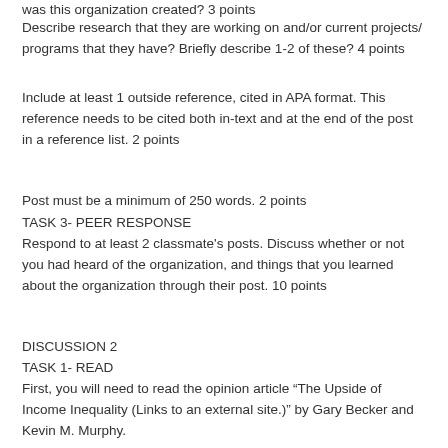was this organization created? 3 points
Describe research that they are working on and/or current projects/programs that they have? Briefly describe 1-2 of these? 4 points
Include at least 1 outside reference, cited in APA format. This reference needs to be cited both in-text and at the end of the post in a reference list. 2 points
Post must be a minimum of 250 words. 2 points
TASK 3- PEER RESPONSE
Respond to at least 2 classmate's posts. Discuss whether or not you had heard of the organization, and things that you learned about the organization through their post. 10 points
DISCUSSION 2
TASK 1- READ
First, you will need to read the opinion article “The Upside of Income Inequality (Links to an external site.)” by Gary Becker and Kevin M. Murphy.
TASK 2- ORIGINAL POST
Next, you will need to create your discussion post. Your post must